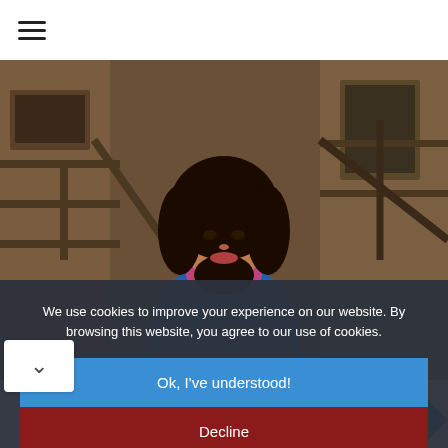☰
[Figure (photo): Young woman with long dark curly hair wearing a colorful blue and purple outfit, standing in front of a wooden fire escape or urban industrial background.]
We use cookies to improve your experience on our website. By browsing this website, you agree to our use of cookies.
Ok, I've understood!
Decline
[Figure (screenshot): Advertisement banner: Save Up to 65% Leesburg Premium Outlets with circular logo and navigation diamond icon.]